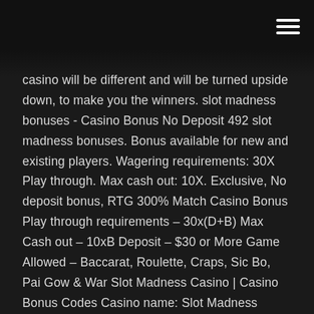casino will be different and will be turned upside down, to make you the winners. slot madness bonuses - Casino Bonus No Deposit 492 slot madness bonuses. Bonus available for new and existing players. Wagering requirements: 30X Play through. Max cash out: 10X. Exclusive, No deposit bonus, RTG 300% Match Casino Bonus Play through requirements – 30x(D+B) Max Cash out – 10xB Deposit – $30 or More Game Allowed – Baccarat, Roulette, Craps, Sic Bo, Pai Gow & War Slot Madness Casino | Casino Bonus Codes Casino name: Slot Madness Casino. $65 free no deposit bonus ** If your last transaction was a free bonus please make a deposit before using this no deposit casino bonus. 30X Play through amt. $100 Max Cash Out. Valid for all players. Play Slot Madness Casino